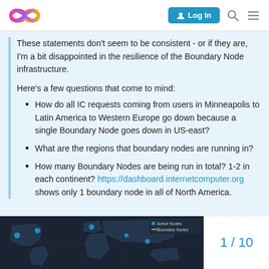Log In (navigation bar with infinity logo, search, and menu icons)
These statements don't seem to be consistent - or if they are, I'm a bit disappointed in the resilience of the Boundary Node infrastructure.
Here's a few questions that come to mind:
How do all IC requests coming from users in Minneapolis to Latin America to Western Europe go down because a single Boundary Node goes down in US-east?
What are the regions that boundary nodes are running in?
How many Boundary Nodes are being run in total? 1-2 in each continent? https://dashboard.internetcomputer.org shows only 1 boundary node in all of North America.
[Figure (map): Dark world map showing boundary node locations as blue dots, with a legend in the top right. Partially visible at the bottom of the page.]
1 / 10